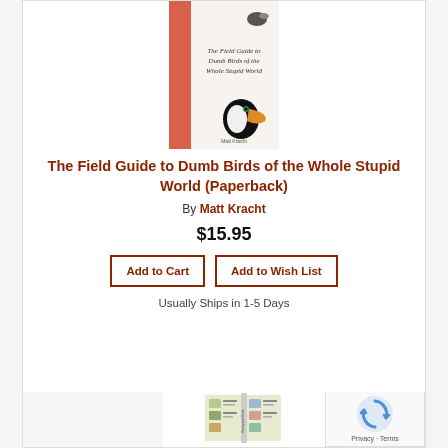[Figure (photo): Book cover of 'The Field Guide to Dumb Birds of the Whole Stupid World' showing a toucan illustration on a white and salmon/red cover]
The Field Guide to Dumb Birds of the Whole Stupid World (Paperback)
By Matt Kracht
$15.95
Add to Cart
Add to Wish List
Usually Ships in 1-5 Days
[Figure (photo): Second book product showing a field guide to backyard birds, open spread view]